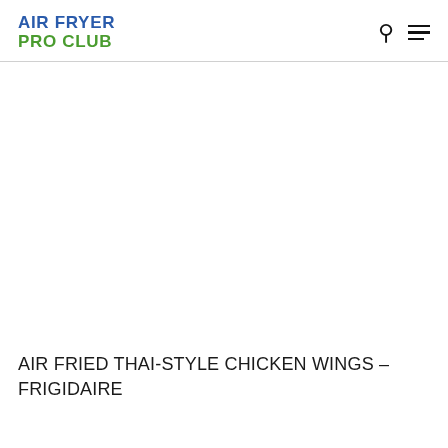AIR FRYER PRO CLUB
[Figure (photo): Large white/blank image area below the navigation header, likely a food photo placeholder]
AIR FRIED THAI-STYLE CHICKEN WINGS – FRIGIDAIRE